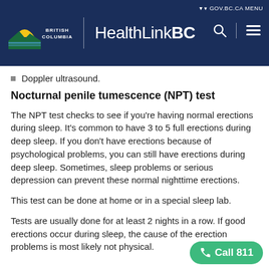HealthLinkBC — British Columbia Government Website Header
Doppler ultrasound.
Nocturnal penile tumescence (NPT) test
The NPT test checks to see if you're having normal erections during sleep. It's common to have 3 to 5 full erections during deep sleep. If you don't have erections because of psychological problems, you can still have erections during deep sleep. Sometimes, sleep problems or serious depression can prevent these normal nighttime erections.
This test can be done at home or in a special sleep lab.
Tests are usually done for at least 2 nights in a row. If good erections occur during sleep, the cause of the erection problems is most likely not physical.